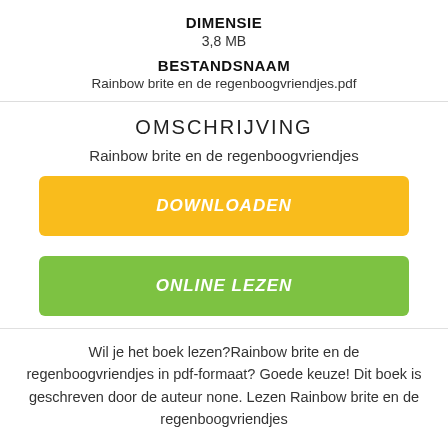DIMENSIE
3,8 MB
BESTANDSNAAM
Rainbow brite en de regenboogvriendjes.pdf
OMSCHRIJVING
Rainbow brite en de regenboogvriendjes
[Figure (other): Yellow download button labeled DOWNLOADEN]
[Figure (other): Green button labeled ONLINE LEZEN]
Wil je het boek lezen?Rainbow brite en de regenboogvriendjes in pdf-formaat? Goede keuze! Dit boek is geschreven door de auteur none. Lezen Rainbow brite en de regenboogvriendjes